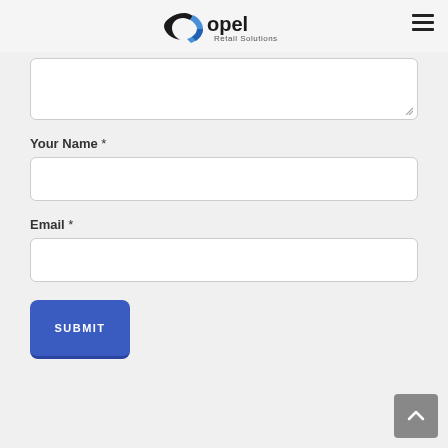Copel Retail Solutions
[Figure (screenshot): A contact form section showing a textarea (partially visible), a 'Your Name *' label with input field, an 'Email *' label with input field, and a blue SUBMIT button. A back-to-top arrow button appears bottom-right.]